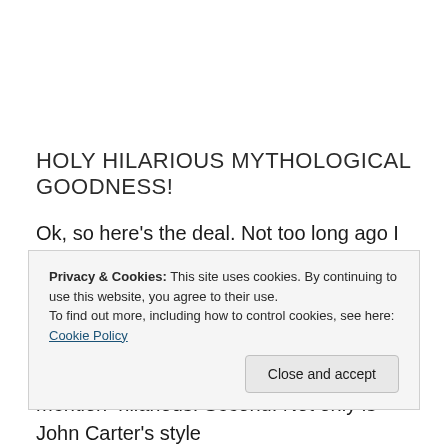HOLY HILARIOUS MYTHOLOGICAL GOODNESS!
Ok, so here's the deal. Not too long ago I read the first book in the Eli Arnold Series, titled ELI ARNOLD AND THE KEYS TO FOREVER: IT'S ABOUT TIME written by author
Privacy & Cookies: This site uses cookies. By continuing to use this website, you agree to their use.
To find out more, including how to control cookies, see here: Cookie Policy
mention–hilarious! Second: Not only is John Carter's style